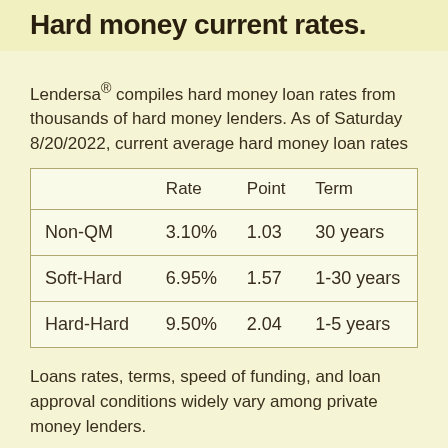Hard money current rates.
Lendersa® compiles hard money loan rates from thousands of hard money lenders. As of Saturday 8/20/2022, current average hard money loan rates
|  | Rate | Point | Term |
| --- | --- | --- | --- |
| Non-QM | 3.10% | 1.03 | 30 years |
| Soft-Hard | 6.95% | 1.57 | 1-30 years |
| Hard-Hard | 9.50% | 2.04 | 1-5 years |
Loans rates, terms, speed of funding, and loan approval conditions widely vary among private money lenders.